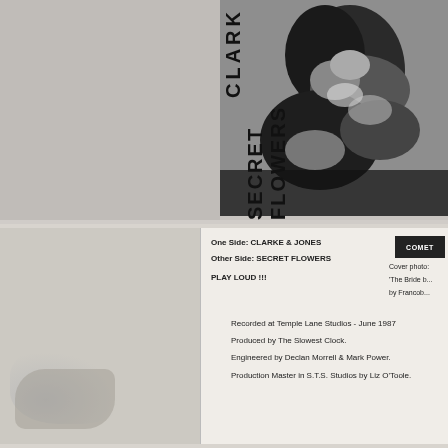[Figure (photo): Black and white photo of two people on a record sleeve cover. Vertical text reading 'CLARK' and 'SECRET FLOWERS' runs along the left side of the image.]
[Figure (photo): Inner/back of record sleeve, off-white paper, showing text credits and a small label logo reading 'COMET' in top right corner.]
One Side: CLARKE & JONES
Other Side: SECRET FLOWERS
PLAY LOUD !!!
Cover photo: 'The Bride...' by Francob...
Recorded at Temple Lane Studios - June 1987
Produced by The Slowest Clock.
Engineered by Declan Morrell & Mark Power.
Production Master in S.T.S. Studios by Liz O'Toole.